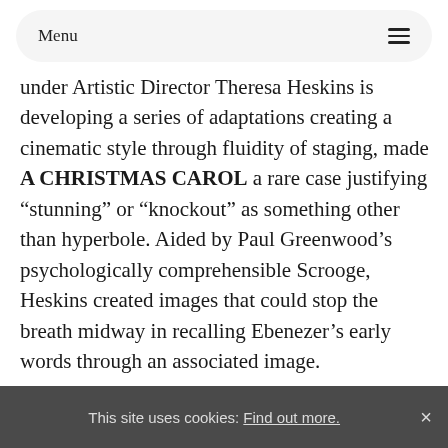Menu
under Artistic Director Theresa Heskins is developing a series of adaptations creating a cinematic style through fluidity of staging, made A CHRISTMAS CAROL a rare case justifying “stunning” or “knockout” as something other than hyperbole. Aided by Paul Greenwood’s psychologically comprehensible Scrooge, Heskins created images that could stop the breath midway in recalling Ebenezer’s early words through an associated image.
But that would only cover the current 2012/13 seasonal shows. So, unfairly missing many out – Théâtre du
This site uses cookies: Find out more. ×